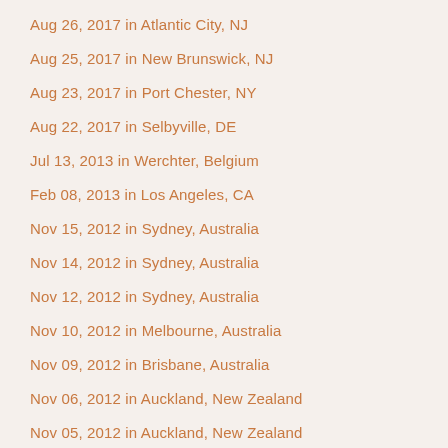Aug 26, 2017 in Atlantic City, NJ
Aug 25, 2017 in New Brunswick, NJ
Aug 23, 2017 in Port Chester, NY
Aug 22, 2017 in Selbyville, DE
Jul 13, 2013 in Werchter, Belgium
Feb 08, 2013 in Los Angeles, CA
Nov 15, 2012 in Sydney, Australia
Nov 14, 2012 in Sydney, Australia
Nov 12, 2012 in Sydney, Australia
Nov 10, 2012 in Melbourne, Australia
Nov 09, 2012 in Brisbane, Australia
Nov 06, 2012 in Auckland, New Zealand
Nov 05, 2012 in Auckland, New Zealand
Nov 03, 2012 in Wellington, New Zealand
Nov 02, 2012 in Wellington, New Zealand